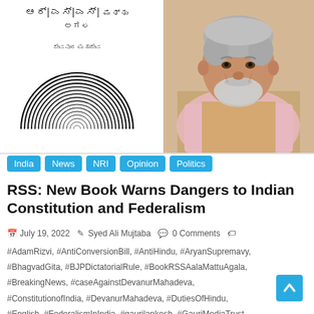[Figure (illustration): Book cover with Kannada script title 'RSS Aala Mattu Agala' and decorative concentric semicircle design, alongside a photo of an elderly Indian man (Devanur Mahadeva) wearing a pink shawl]
India
News
NRI
Opinion
Politics
RSS: New Book Warns Dangers to Indian Constitution and Federalism
July 19, 2022  Syed Ali Mujtaba  0 Comments
#AdamRizvi, #AntiConversionBill, #AntiHindu, #AryanSupremavy, #BhagvadGita, #BJPDictatorialRule, #BookRSSAalaMattuAgala, #BreakingNews, #caseAgainstDevanurMahadeva, #ConstitutionofIndia, #DevanurMahadeva, #DutiesOfHindu, #English, #FederalismInIndia, #gaurilankesh, #GauriMediaTrust,